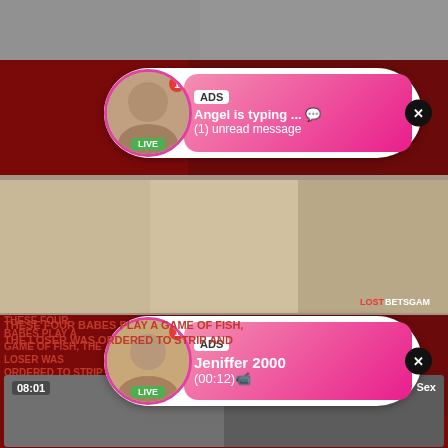[Figure (screenshot): Adult content website screenshot showing notification ad overlays with live user thumbnails, a video thumbnail of four women, a text title, and a bottom video preview with source label.]
ADS
Angel is typing ... 💬
(1) unread message
ADS
Jeniffer 2000
(00:12)📹
THESE FOUR BABES PLAY A GAME OF FISH, THE LOSER WAS ORDERED TO STRIP AND
08:01   source: Any Sex